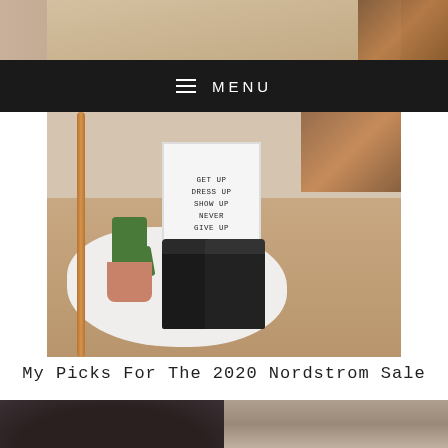[Figure (photo): Top portion of a fashion/lifestyle blog page showing a partial image of clothing items]
MENU
[Figure (photo): Room scene with wooden floor, white fluffy rug, black leather boots, cactus in white pot, copper rod/garment rack, and a sign reading GET UP DRESS UP SHOW UP NEVER GIVE UP]
My Picks For The 2020 Nordstrom Sale
[Figure (photo): Two hair/person photos side by side — left shows dark curly/afro hair, right shows a person's head with slicked back brown hair]